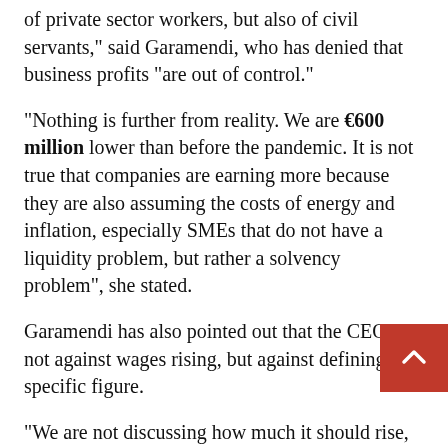of private sector workers, but also of civil servants," said Garamendi, who has denied that business profits "are out of control."
"Nothing is further from reality. We are €600 million lower than before the pandemic. It is not true that companies are earning more because they are also assuming the costs of energy and inflation, especially SMEs that do not have a liquidity problem, but rather a solvency problem", she stated.
Garamendi has also pointed out that the CEOE is not against wages rising, but against defining a specific figure.
"We are not discussing how much it should rise, but rather we cannot assume and sign a clause that binds it to the revaluation of salaries based on the CPI because that would make inflation